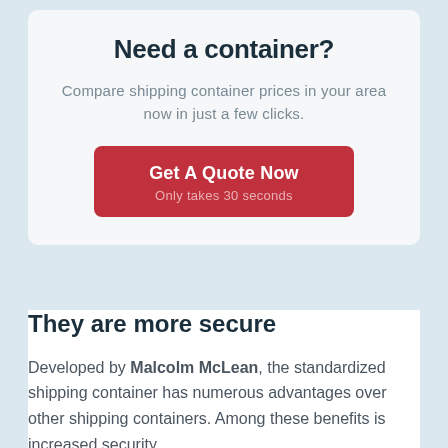Need a container?
Compare shipping container prices in your area now in just a few clicks.
[Figure (other): Red call-to-action button with text 'Get A Quote Now' and subtitle 'Only takes 30 seconds']
They are more secure
Developed by Malcolm McLean, the standardized shipping container has numerous advantages over other shipping containers. Among these benefits is increased security.